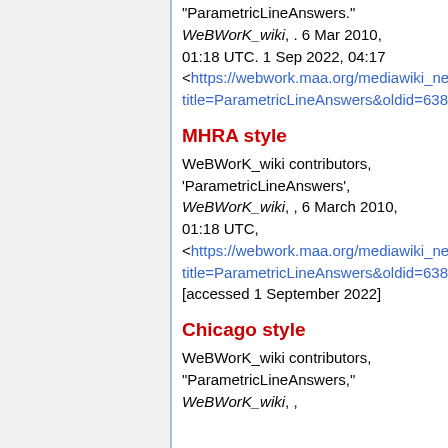"ParametricLineAnswers." WeBWorK_wiki, . 6 Mar 2010, 01:18 UTC. 1 Sep 2022, 04:17 <https://webwork.maa.org/mediawiki_new...title=ParametricLineAnswers&oldid=6387>
MHRA style
WeBWorK_wiki contributors, 'ParametricLineAnswers', WeBWorK_wiki, , 6 March 2010, 01:18 UTC, <https://webwork.maa.org/mediawiki_new...title=ParametricLineAnswers&oldid=6387> [accessed 1 September 2022]
Chicago style
WeBWorK_wiki contributors, "ParametricLineAnswers," WeBWorK_wiki, ,